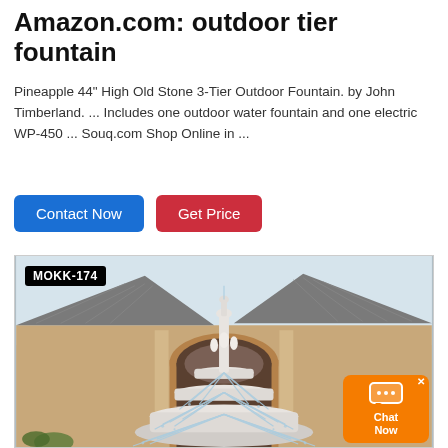Amazon.com: outdoor tier fountain
Pineapple 44" High Old Stone 3-Tier Outdoor Fountain. by John Timberland. ... Includes one outdoor water fountain and one electric WP-450 ... Souq.com Shop Online in ...
[Figure (other): Two buttons: 'Contact Now' (blue) and 'Get Price' (red)]
[Figure (photo): Photo of a white marble 3-tier outdoor fountain with cascading water, set in front of a luxury home with a tiled roof and arched entrance. Label 'MOKK-174' shown in upper-left corner. Chat widget visible in lower-right corner.]